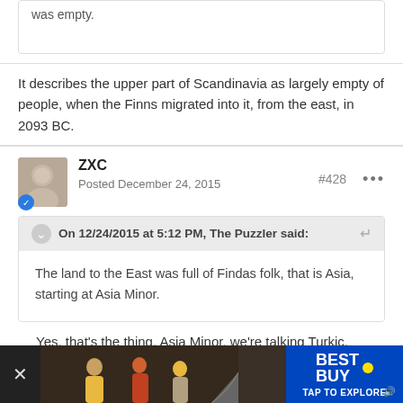was empty.
It describes the upper part of Scandinavia as largely empty of people, when the Finns migrated into it, from the east, in 2093 BC.
ZXC
Posted December 24, 2015
#428
On 12/24/2015 at 5:12 PM, The Puzzler said:
The land to the East was full of Findas folk, that is Asia, starting at Asia Minor.
Yes, that's the thing, Asia Minor, we're talking Turkic, Armenian and Indian peoples aren't we? At least that's who inhabits those lands today
[Figure (photo): Advertisement banner for Best Buy with people in background and page curl effect]